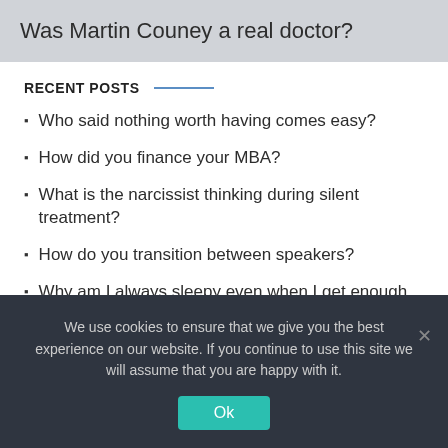Was Martin Couney a real doctor?
RECENT POSTS
Who said nothing worth having comes easy?
How did you finance your MBA?
What is the narcissist thinking during silent treatment?
How do you transition between speakers?
Why am I always sleepy even when I get enough sleep?
We use cookies to ensure that we give you the best experience on our website. If you continue to use this site we will assume that you are happy with it.